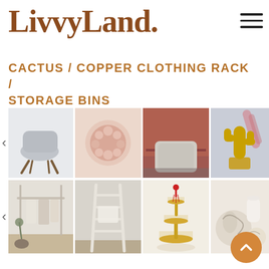LivvyLand.
CACTUS / COPPER CLOTHING RACK / STORAGE BINS
[Figure (photo): Grid of home decor product images: grey swivel chair, pink fluffy pillow, grey pouf ottoman, golden cactus decor, copper clothing rack, white wooden ladder, gold tiered jewelry tray, decorative orbs]
[Figure (other): Orange circular scroll-to-top button with upward chevron arrow]